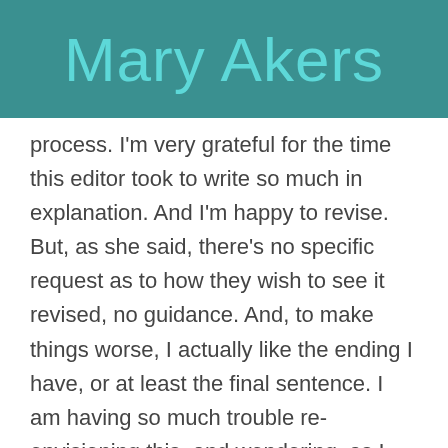Mary Akers
process. I'm very grateful for the time this editor took to write so much in explanation. And I'm happy to revise. But, as she said, there's no specific request as to how they wish to see it revised, no guidance. And, to make things worse, I actually like the ending I have, or at least the final sentence. I am having so much trouble re-envisioning this, and wondering, as I struggle, if it isn't the compliments, in part, that are making it so difficult? If they had said this sucks, change this, I would feel